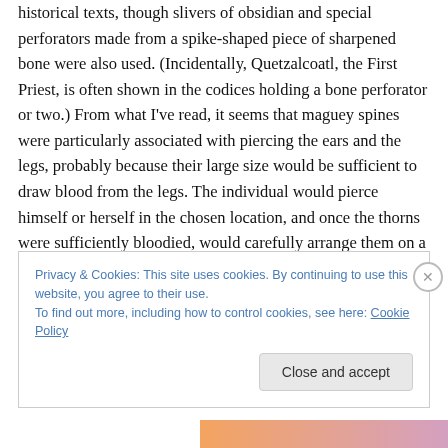historical texts, though slivers of obsidian and special perforators made from a spike-shaped piece of sharpened bone were also used. (Incidentally, Quetzalcoatl, the First Priest, is often shown in the codices holding a bone perforator or two.) From what I've read, it seems that maguey spines were particularly associated with piercing the ears and the legs, probably because their large size would be sufficient to draw blood from the legs. The individual would pierce himself or herself in the chosen location, and once the thorns were sufficiently bloodied, would carefully arrange them on a bed of cut fir boughs, or
Privacy & Cookies: This site uses cookies. By continuing to use this website, you agree to their use.
To find out more, including how to control cookies, see here: Cookie Policy